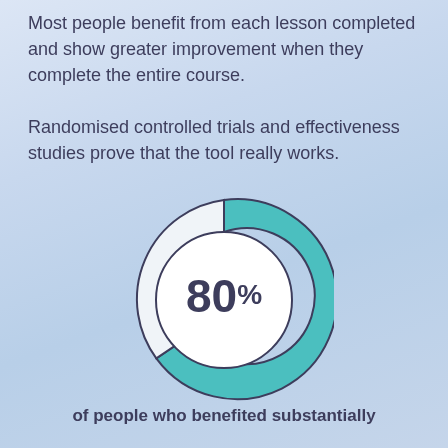Most people benefit from each lesson completed and show greater improvement when they complete the entire course.

Randomised controlled trials and effectiveness studies prove that the tool really works.
[Figure (donut-chart): 80% of people who benefited substantially]
of people who benefited substantially